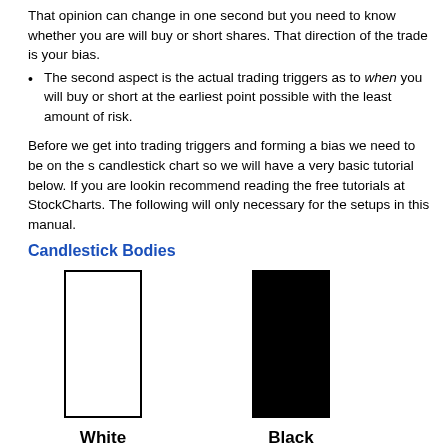That opinion can change in one second but you need to know whether you are will buy or short shares. That direction of the trade is your bias.
The second aspect is the actual trading triggers as to when you will buy or short at the earliest point possible with the least amount of risk.
Before we get into trading triggers and forming a bias we need to be on the s... candlestick chart so we will have a very basic tutorial below. If you are lookin... recommend reading the free tutorials at StockCharts. The following will only necessary for the setups in this manual.
Candlestick Bodies
[Figure (illustration): Two candlestick body illustrations: a white (hollow) rectangle on the left and a black (filled) rectangle on the right, labeled 'White' and 'Black' respectively.]